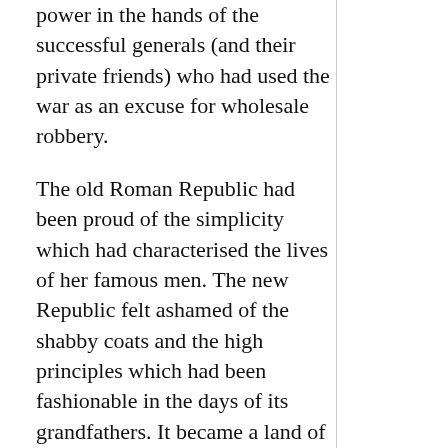power in the hands of the successful generals (and their private friends) who had used the war as an excuse for wholesale robbery.
The old Roman Republic had been proud of the simplicity which had characterised the lives of her famous men. The new Republic felt ashamed of the shabby coats and the high principles which had been fashionable in the days of its grandfathers. It became a land of rich people ruled by rich people for the benefit of rich people. As such it was doomed to disastrous failure, as I shall now tell you.